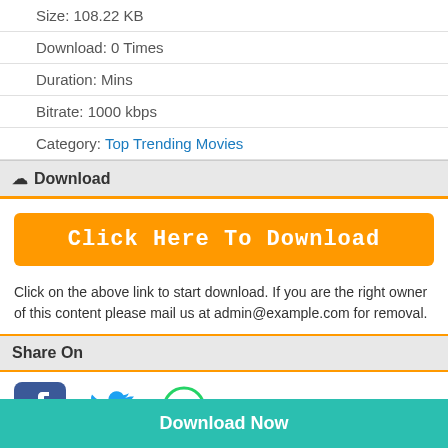| Size: 108.22 KB |
| Download: 0 Times |
| Duration: Mins |
| Bitrate: 1000 kbps |
| Category: Top Trending Movies |
Download
[Figure (other): Orange download button labeled 'Click Here To Download']
Click on the above link to start download. If you are the right owner of this content please mail us at admin@example.com for removal.
Share On
[Figure (other): Social media icons: Facebook, Twitter, WhatsApp]
Tags :- Download Sye Raa Narasimha Reddy 2019 Hindi Dubbed Movie Watch Online Free Full Mp4 Movie Download, Sye Raa Narasimha Reddy 2019 Hindi Dubbed Movie Watch Online Free aFilmywap, Sye Raa Narasimha Reddy 2019 Hindi Dubbed Movie Watch Online Free 480p Mp4 Download, Sye Raa Narasimha Reddy 2019 Hindi Dubbed Movie Watch Online Free ...
Download Now